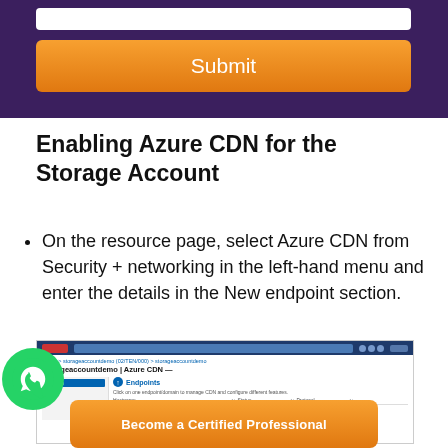[Figure (screenshot): Orange Submit button on dark purple background with white input field above it]
Enabling Azure CDN for the Storage Account
On the resource page, select Azure CDN from Security + networking in the left-hand menu and enter the details in the New endpoint section.
[Figure (screenshot): Microsoft Azure portal screenshot showing storageaccountdemo | Azure CDN page with Endpoints section]
Become a Certified Professional